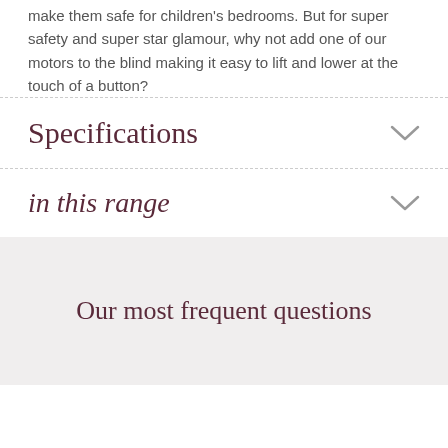make them safe for children's bedrooms. But for super safety and super star glamour, why not add one of our motors to the blind making it easy to lift and lower at the touch of a button?
Specifications
in this range
Our most frequent questions